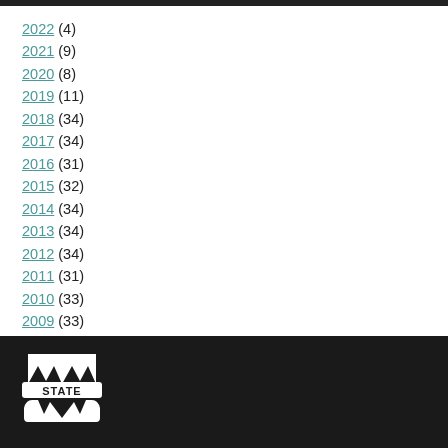2022 (4)
2021 (9)
2020 (8)
2019 (11)
2018 (34)
2017 (34)
2016 (31)
2015 (32)
2014 (34)
2013 (34)
2012 (34)
2011 (31)
2010 (33)
2009 (33)
2008 (31)
[Figure (logo): Mississippi State University M-STATE logo in white on dark background]